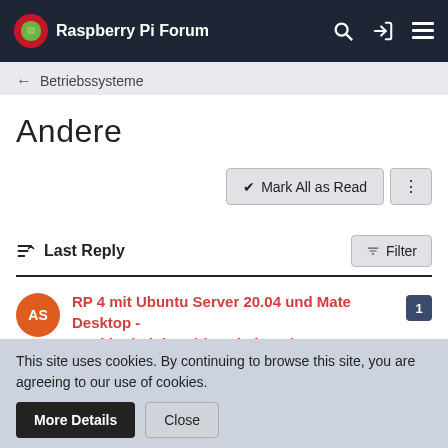Raspberry Pi Forum
← Betriebssysteme
Andere
✔ Mark All as Read
Last Reply   Filter
RP 4 mit Ubuntu Server 20.04 und Mate Desktop - Ruckler bei der Videowiedergabe
astrowombel  Jun 30th 2020  [1]
RP 4 mit Ubuntu Server 20.04 und Mate Desktop [2]
This site uses cookies. By continuing to browse this site, you are agreeing to our use of cookies.